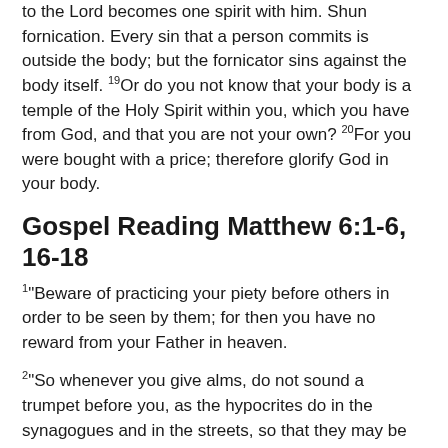to the Lord becomes one spirit with him. Shun fornication. Every sin that a person commits is outside the body; but the fornicator sins against the body itself. 19Or do you not know that your body is a temple of the Holy Spirit within you, which you have from God, and that you are not your own? 20For you were bought with a price; therefore glorify God in your body.
Gospel Reading Matthew 6:1-6, 16-18
1"Beware of practicing your piety before others in order to be seen by them; for then you have no reward from your Father in heaven.
2"So whenever you give alms, do not sound a trumpet before you, as the hypocrites do in the synagogues and in the streets, so that they may be praised by others. Truly I tell you, they have received their reward. 3But when you give alms, do not let your left hand know what your right hand is doing, 4so that your alms may be done in secret; and your Father who sees in secret will